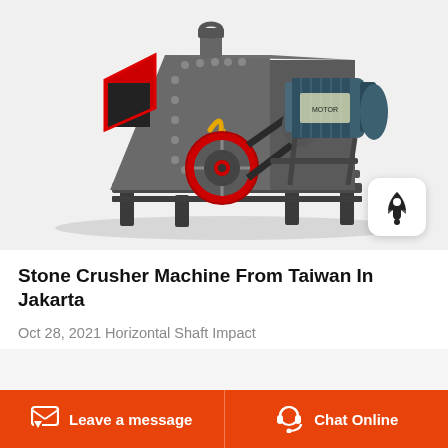[Figure (photo): A horizontal shaft impact stone crusher machine, predominantly grey in color with a red-framed input chute on the left, a red-circled flywheel/pulley in the center, and a blue-grey electric motor on the right, mounted on a metal frame on a white background.]
Stone Crusher Machine From Taiwan In Jakarta
Oct 28, 2021 Horizontal Shaft Impact
Leave a message   Chat Online